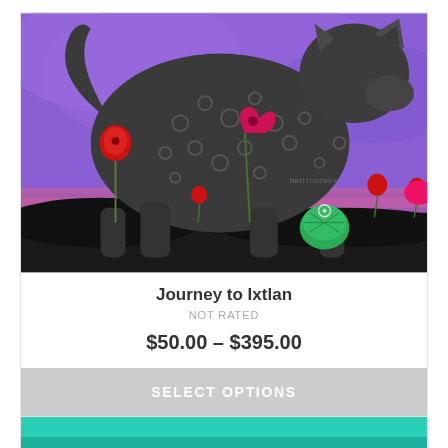[Figure (illustration): Painting of a large dark grey cat-like animal with spots/circles on its body, standing against a purple/violet sky background with red poppy flowers and a green seed pod below.]
Journey to Ixtlan
NOT RATED
$50.00 – $395.00
SELECT OPTIONS
[Figure (illustration): Partial view of another product card with a teal/turquoise colored image at the bottom of the page.]